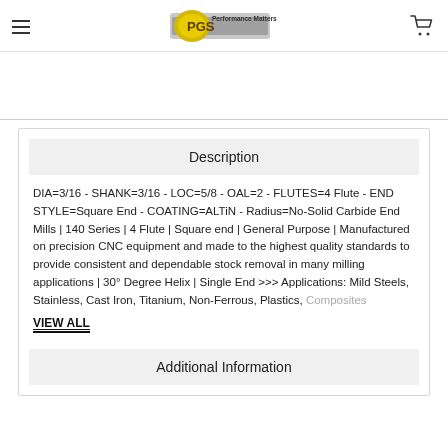PGS Performance Matters [logo] [cart icon]
Description
DIA=3/16 - SHANK=3/16 - LOC=5/8 - OAL=2 - FLUTES=4 Flute - END STYLE=Square End - COATING=ALTiN - Radius=No-Solid Carbide End Mills | 140 Series | 4 Flute | Square end | General Purpose | Manufactured on precision CNC equipment and made to the highest quality standards to provide consistent and dependable stock removal in many milling applications | 30° Degree Helix | Single End >>> Applications: Mild Steels, Stainless, Cast Iron, Titanium, Non-Ferrous, Plastics, Composites
VIEW ALL
Additional Information